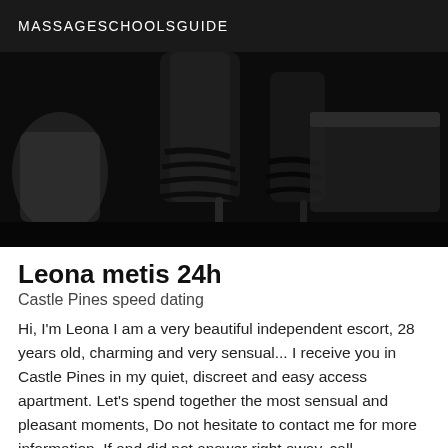MASSAGESCHOOLSGUIDE
[Figure (photo): Black and white photo showing legs wearing strappy high-heeled sandals with a bag visible on the left side]
Leona metis 24h
Castle Pines speed dating
Hi, I'm Leona I am a very beautiful independent escort, 28 years old, charming and very sensual... I receive you in Castle Pines in my quiet, discreet and easy access apartment. Let's spend together the most sensual and pleasant moments, Do not hesitate to contact me for more information, If and did not answer right away, call